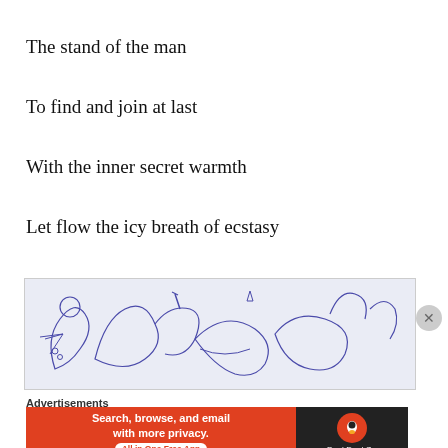The stand of the man
To find and join at last
With the inner secret warmth
Let flow the icy breath of ecstasy
[Figure (illustration): Abstract hand-drawn sketch with flowing lines and figures on a light blue-grey background, rendered in dark blue ink]
Advertisements
[Figure (other): DuckDuckGo advertisement banner: orange left side with text 'Search, browse, and email with more privacy. All in One Free App' and dark right side with DuckDuckGo logo]